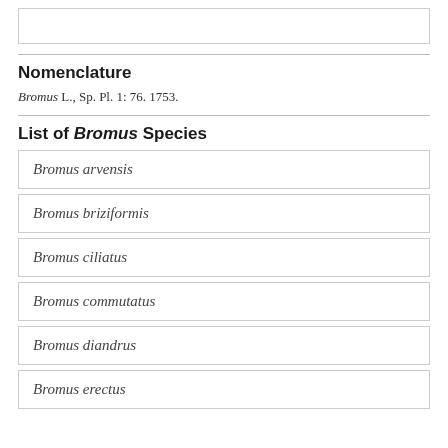Nomenclature
Bromus L., Sp. Pl. 1: 76. 1753.
List of Bromus Species
Bromus arvensis
Bromus briziformis
Bromus ciliatus
Bromus commutatus
Bromus diandrus
Bromus erectus